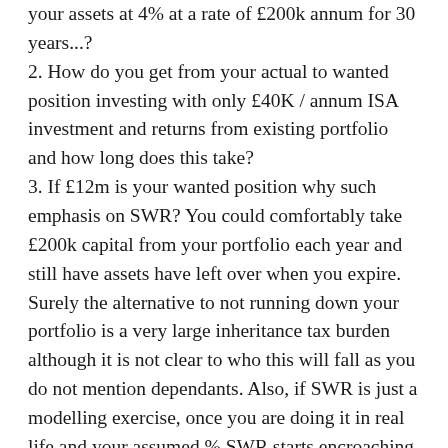your assets at 4% at a rate of £200k annum for 30 years...? 2. How do you get from your actual to wanted position investing with only £40K / annum ISA investment and returns from existing portfolio and how long does this take? 3. If £12m is your wanted position why such emphasis on SWR? You could comfortably take £200k capital from your portfolio each year and still have assets have left over when you expire. Surely the alternative to not running down your portfolio is a very large inheritance tax burden although it is not clear to who this will fall as you do not mention dependants. Also, if SWR is just a modelling exercise, once you are doing it in real life and your assumed % SWR starts encroaching on your capital, surely you simply adjust it...?